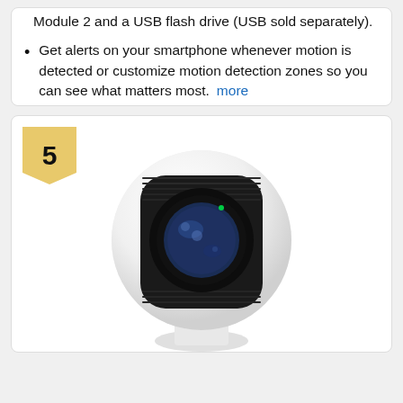Module 2 and a USB flash drive (USB sold separately).
Get alerts on your smartphone whenever motion is detected or customize motion detection zones so you can see what matters most. more
[Figure (photo): A white indoor security camera with a round spherical body and a large black circular lens on a pedestal base. A number 5 ranking badge in yellow is shown in the top-left corner of the card.]